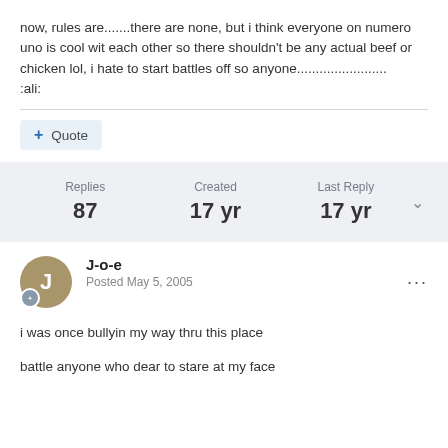now, rules are.......there are none, but i think everyone on numero uno is cool wit each other so there shouldn't be any actual beef or chicken lol, i hate to start battles off so anyone........................ :ali:
+ Quote
Replies 87 | Created 17 yr | Last Reply 17 yr
J-o-e
Posted May 5, 2005
i was once bullyin my way thru this place
battle anyone who dear to stare at my face